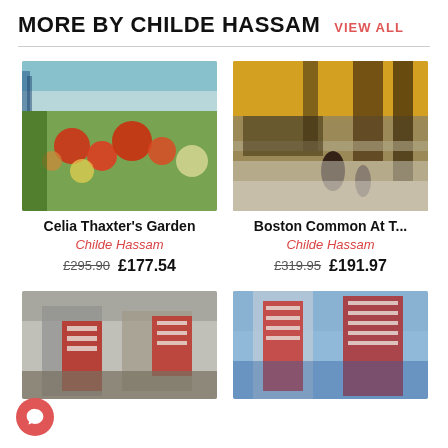MORE BY CHILDE HASSAM
VIEW ALL
[Figure (photo): Painting: Celia Thaxter's Garden - impressionist painting of colorful flowers with the sea in the background]
Celia Thaxter's Garden
Childe Hassam
£295.90  £177.54
[Figure (photo): Painting: Boston Common At T... - winter scene of people walking along a snowy Boston Common]
Boston Common At T...
Childe Hassam
£319.95  £191.97
[Figure (photo): Painting of American flags hanging from buildings - flags on a city street, cropped at bottom]
[Figure (photo): Painting of American flags on a sunny city street - another flags painting, cropped at bottom]